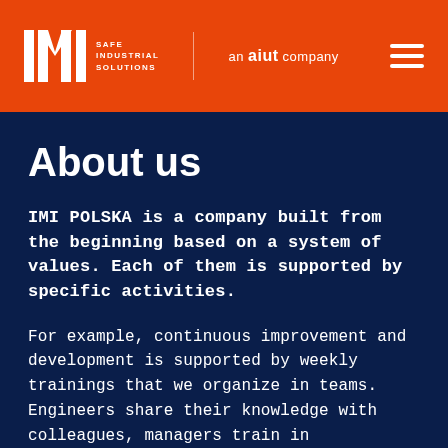[Figure (logo): IMI Safe Industrial Solutions logo with 'an aiut company' text and hamburger menu on orange background]
About us
IMI POLSKA is a company built from the beginning based on a system of values. Each of them is supported by specific activities.
For example, continuous improvement and development is supported by weekly trainings that we organize in teams. Engineers share their knowledge with colleagues, managers train in communication, and production employees pass